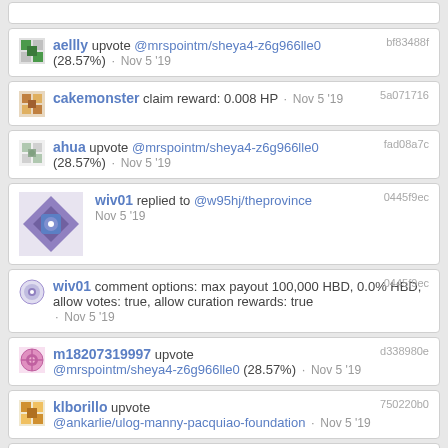aellly upvote @mrspointm/sheya4-z6g966lle0 (28.57%) · Nov 5 '19 | bf83488f
cakemonster claim reward: 0.008 HP · Nov 5 '19 | 5a071716
ahua upvote @mrspointm/sheya4-z6g966lle0 (28.57%) · Nov 5 '19 | fad08a7c
wiv01 replied to @w95hj/theprovince Nov 5 '19 | 0445f9ec
wiv01 comment options: max payout 100,000 HBD, 0.0% HBD, allow votes: true, allow curation rewards: true · Nov 5 '19 | 0445f9ec
m18207319997 upvote @mrspointm/sheya4-z6g966lle0 (28.57%) · Nov 5 '19 | d338980e
klborillo upvote @ankarlie/ulog-manny-pacquiao-foundation · Nov 5 '19 | 750220b0
cherrylp147 upvote @mrspointm/sheya4-z6g966lle0 (28.57%) · Nov 5 '19 | 0d5f33f6
invapi123 upvote @mrspointm/sheya4-z6g966lle0 | 0359cd6...